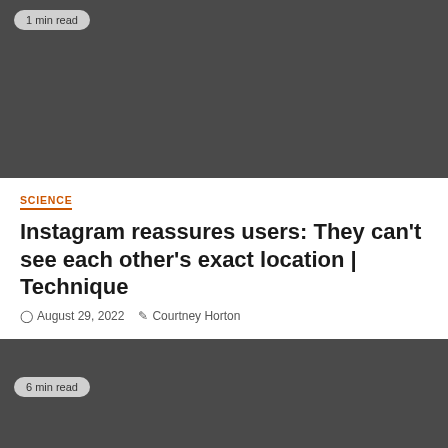[Figure (photo): Dark gray image placeholder with '1 min read' badge in top left corner]
SCIENCE
Instagram reassures users: They can't see each other's exact location | Technique
August 29, 2022   Courtney Horton
[Figure (photo): Dark gray image placeholder with '6 min read' badge in top left corner]